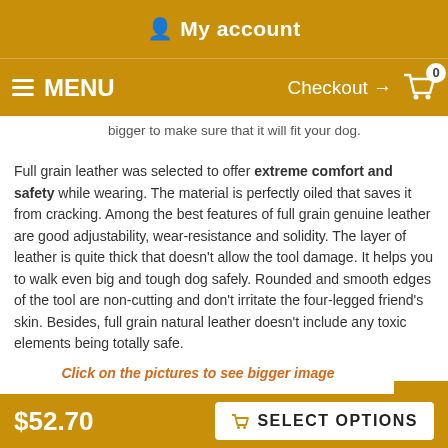My account
MENU  Checkout → 0
bigger to make sure that it will fit your dog.
Full grain leather was selected to offer extreme comfort and safety while wearing. The material is perfectly oiled that saves it from cracking. Among the best features of full grain genuine leather are good adjustability, wear-resistance and solidity. The layer of leather is quite thick that doesn't allow the tool damage. It helps you to walk even big and tough dog safely. Rounded and smooth edges of the tool are non-cutting and don't irritate the four-legged friend's skin. Besides, full grain natural leather doesn't include any toxic elements being totally safe.
Click on the pictures to see bigger image
[Figure (photo): Partial photo strip showing a dark brown animal/dog product]
$52.70
SELECT OPTIONS